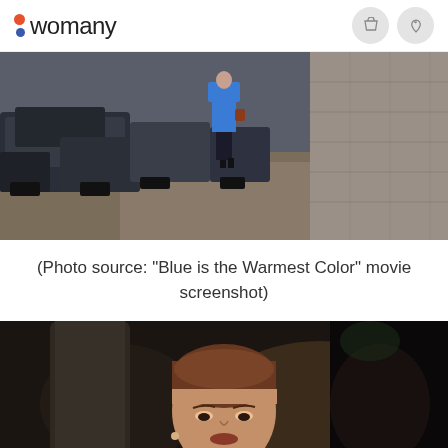womany
[Figure (screenshot): Movie screenshot from 'Blue is the Warmest Color' showing a woman in a blue dress walking away down a street lined with parked cars and a stone wall]
(Photo source: "Blue is the Warmest Color" movie screenshot)
[Figure (screenshot): Movie screenshot showing a close-up of a woman with short brown hair looking downward, in a dim interior setting]